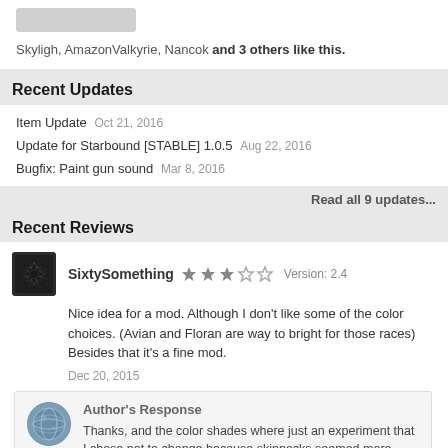Skyligh, AmazonValkyrie, Nancok and 3 others like this.
Recent Updates
Item Update Oct 21, 2016
Update for Starbound [STABLE] 1.0.5 Aug 22, 2016
Bugfix: Paint gun sound Mar 8, 2016
Read all 9 updates...
Recent Reviews
SixtySomething  ★★★☆☆  Version: 2.4
Nice idea for a mod. Although I don't like some of the color choices. (Avian and Floran are way to bright for those races) Besides that it's a fine mod.
Dec 20, 2015
Author's Response
Thanks, and the color shades where just an experiment that I chose not to change because skinpacks seemed more appealing as an idea. On that note, try downloading the BetaPatch Skinpack I've linked in the mod description above. Perhaps those will suit you better.